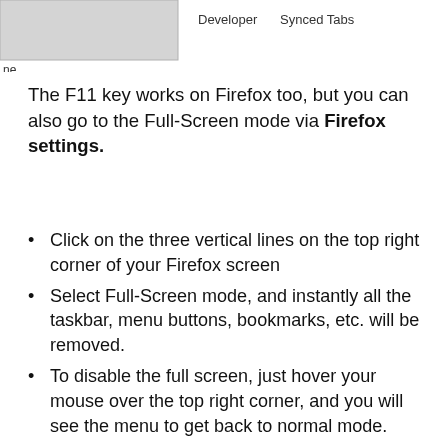[Figure (screenshot): Partial screenshot showing a browser menu with tabs labeled 'Developer' and 'Synced Tabs', and a blurred/grey rectangle on the left side with label 'ne' at bottom-left.]
The F11 key works on Firefox too, but you can also go to the Full-Screen mode via Firefox settings.
Click on the three vertical lines on the top right corner of your Firefox screen
Select Full-Screen mode, and instantly all the taskbar, menu buttons, bookmarks, etc. will be removed.
To disable the full screen, just hover your mouse over the top right corner, and you will see the menu to get back to normal mode.